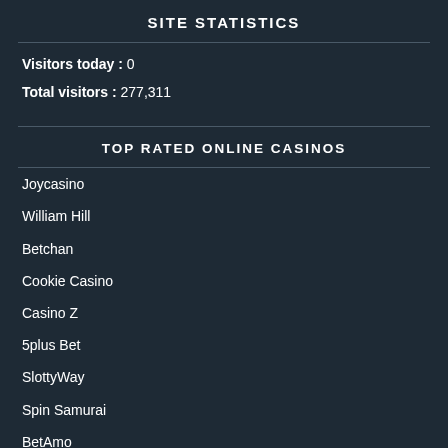SITE STATISTICS
Visitors today : 0
Total visitors : 277,311
TOP RATED ONLINE CASINOS
Joycasino
William Hill
Betchan
Cookie Casino
Casino Z
5plus Bet
SlottyWay
Spin Samurai
BetAmo